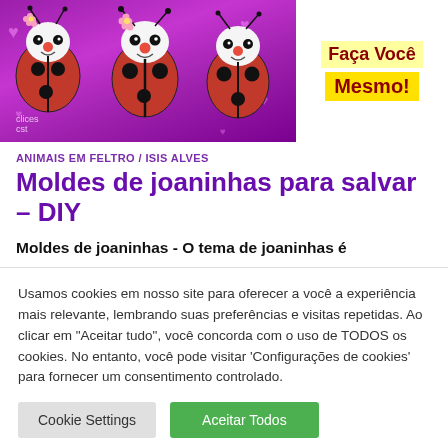[Figure (photo): Banner image showing felt ladybug crafts on purple background with hearts, alongside yellow box with text 'Faça Você Mesmo!']
ANIMAIS EM FELTRO / ISIS ALVES
Moldes de joaninhas para salvar – DIY
Moldes de joaninhas - O tema de joaninhas é
Usamos cookies em nosso site para oferecer a você a experiência mais relevante, lembrando suas preferências e visitas repetidas. Ao clicar em "Aceitar tudo", você concorda com o uso de TODOS os cookies. No entanto, você pode visitar 'Configurações de cookies' para fornecer um consentimento controlado.
Cookie Settings | Aceitar Todos